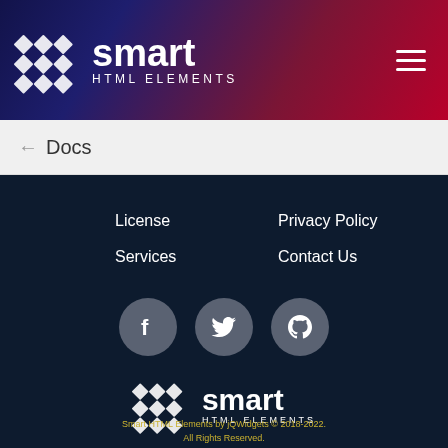Smart HTML Elements
← Docs
License
Privacy Policy
Services
Contact Us
[Figure (logo): Facebook, Twitter, and GitHub social media icons as circular buttons]
[Figure (logo): Smart HTML Elements logo with diamond grid icon and text]
Smart HTML Elements by jQWidgets © 2018-2022. All Rights Reserved.